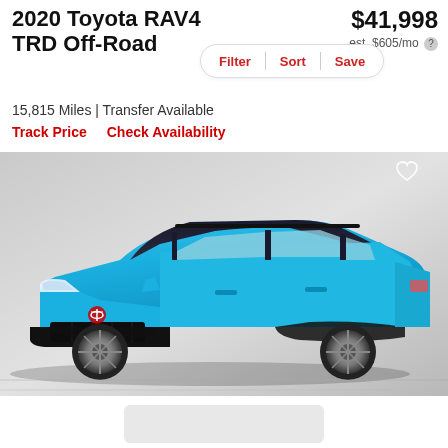2020 Toyota RAV4 TRD Off-Road
$41,998
est. $605/mo
Filter | Sort | Save
15,815 Miles | Transfer Available
Track Price   Check Availability
[Figure (photo): 2020 Toyota RAV4 TRD Off-Road in blue, front 3/4 view, parked on gray tile floor with neutral background]
[Figure (photo): Thumbnail image placeholder below main photo]